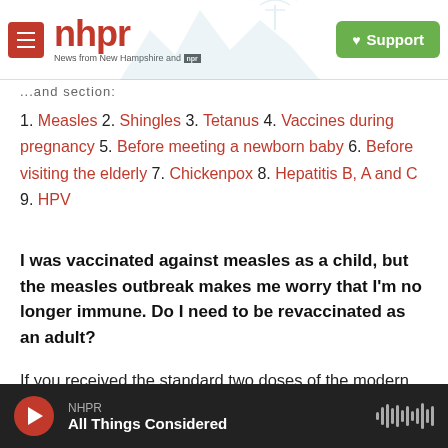nhpr — News from New Hampshire and NPR — Support
...and section:
1. Measles 2. Shingles 3. Tetanus 4. Vaccines during pregnancy 5. Before meeting a newborn baby 6. Before visiting the elderly 7. Chickenpox 8. Hepatitis B, A and C 9. HPV
I was vaccinated against measles as a child, but the measles outbreak makes me worry that I'm no longer immune. Do I need to be revaccinated as an adult?
If you received the standard two doses of the modern measles, mumps and rubella (MMR)
NHPR — All Things Considered